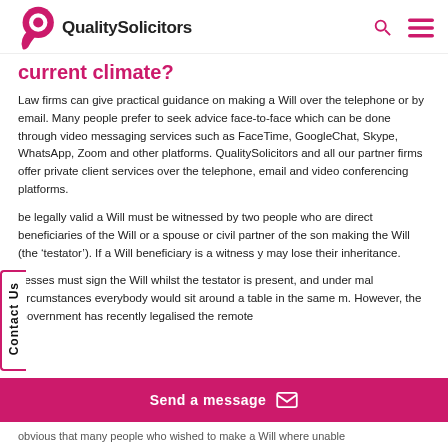QualitySolicitors
current climate?
Law firms can give practical guidance on making a Will over the telephone or by email. Many people prefer to seek advice face-to-face which can be done through video messaging services such as FaceTime, GoogleChat, Skype, WhatsApp, Zoom and other platforms. QualitySolicitors and all our partner firms offer private client services over the telephone, email and video conferencing platforms.
be legally valid a Will must be witnessed by two people who are direct beneficiaries of the Will or a spouse or civil partner of the son making the Will (the 'testator'). If a Will beneficiary is a witness y may lose their inheritance.
nesses must sign the Will whilst the testator is present, and under mal circumstances everybody would sit around a table in the same m. However, the Government has recently legalised the remote
obvious that many people who wished to make a Will where unable